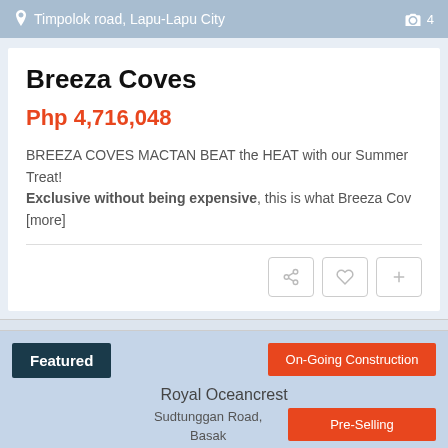Timpolok road, Lapu-Lapu City  📷 4
Breeza Coves
Php 4,716,048
BREEZA COVES MACTAN BEAT the HEAT with our Summer Treat! Exclusive without being expensive, this is what Breeza Cov [more]
Featured
On-Going Construction
Royal Oceancrest
Sudtunggan Road, Basak Lapu Lapu City
Pre-Selling
[Figure (photo): Aerial rendering of Royal Oceancrest condominium towers with pool]